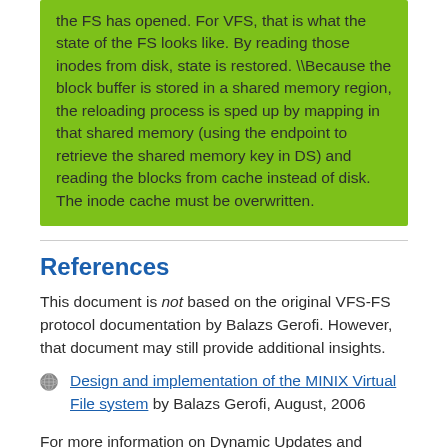the FS has opened. For VFS, that is what the state of the FS looks like. By reading those inodes from disk, state is restored. \Because the block buffer is stored in a shared memory region, the reloading process is sped up by mapping in that shared memory (using the endpoint to retrieve the shared memory key in DS) and reading the blocks from cache instead of disk. The inode cache must be overwritten.
References
This document is not based on the original VFS-FS protocol documentation by Balazs Gerofi. However, that document may still provide additional insights.
Design and implementation of the MINIX Virtual File system by Balazs Gerofi, August, 2006
For more information on Dynamic Updates and Failure Resilience, see the Master's Thesis by Thomas Veerman.
Dynamic Updates and Failure Resilience for the Minix File Server by